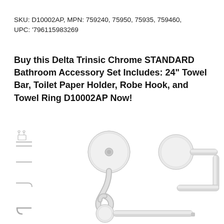SKU: D10002AP, MPN: 759240, 75950, 75935, 759460, UPC: '796115983269
Buy this Delta Trinsic Chrome STANDARD Bathroom Accessory Set Includes: 24" Towel Bar, Toilet Paper Holder, Robe Hook, and Towel Ring D10002AP Now!
[Figure (photo): Product photo showing Delta Trinsic Chrome bathroom accessories: a set of items shown in small thumbnails on the left (towel bar set, robe hook, toilet paper holder), a large chrome robe hook in the center, a chrome towel ring/toilet paper holder on the upper right, and a chrome towel bar at the bottom center-right.]